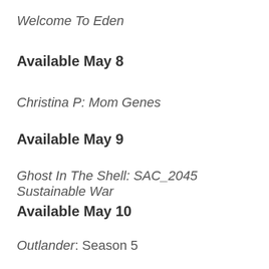Welcome To Eden
Available May 8
Christina P: Mom Genes
Available May 9
Ghost In The Shell: SAC_2045 Sustainable War
Available May 10
Outlander: Season 5
Workin' Moms: Season 6
42 Days Of Darkness